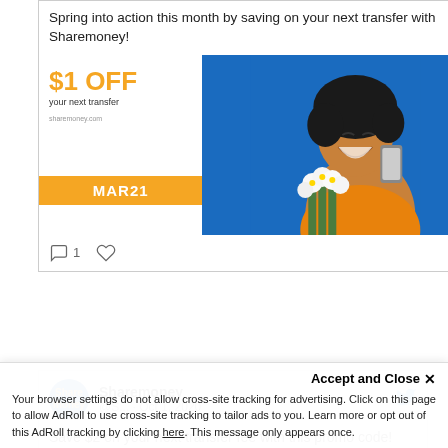Spring into action this month by saving on your next transfer with Sharemoney!
[Figure (photo): Promotional image for Sharemoney showing '$1 OFF your next transfer' with promo code MAR21 on orange bar, woman smiling holding flowers and phone on blue background]
1 [comment icon] [heart icon]
[Figure (screenshot): Sharemoney Twitter/X post header with circular logo (Share money in blue/orange), handle @S... · Oct 1, 2020, and blue bird icon]
Save $2 on your next transfer fee with this promo code!
Accept and Close ✕
Your browser settings do not allow cross-site tracking for advertising. Click on this page to allow AdRoll to use cross-site tracking to tailor ads to you. Learn more or opt out of this AdRoll tracking by clicking here. This message only appears once.